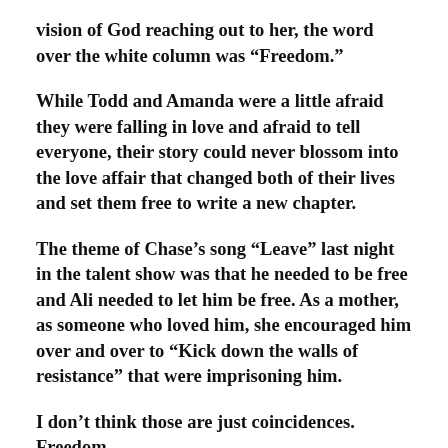vision of God reaching out to her, the word over the white column was “Freedom.”
While Todd and Amanda were a little afraid they were falling in love and afraid to tell everyone, their story could never blossom into the love affair that changed both of their lives and set them free to write a new chapter.
The theme of Chase’s song “Leave” last night in the talent show was that he needed to be free and Ali needed to let him be free. As a mother, as someone who loved him, she encouraged him over and over to “Kick down the walls of resistance” that were imprisoning him.
I don’t think those are just coincidences. Freedom